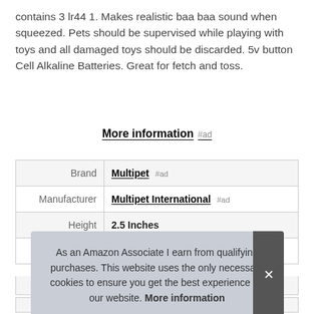contains 3 lr44 1. Makes realistic baa baa sound when squeezed. Pets should be supervised while playing with toys and all damaged toys should be discarded. 5v button Cell Alkaline Batteries. Great for fetch and toss.
More information #ad
|  |  |
| --- | --- |
| Brand | Multipet #ad |
| Manufacturer | Multipet International #ad |
| Height | 2.5 Inches |
| Length | 7 Inches |
| P |  |
| Model | 27019 |
As an Amazon Associate I earn from qualifying purchases. This website uses the only necessary cookies to ensure you get the best experience on our website. More information